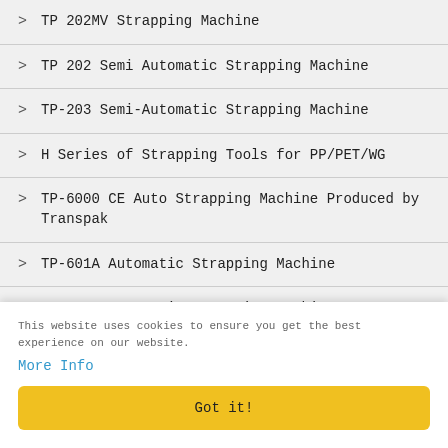TP 202MV Strapping Machine
TP 202 Semi Automatic Strapping Machine
TP-203 Semi-Automatic Strapping Machine
H Series of Strapping Tools for PP/PET/WG
TP-6000 CE Auto Strapping Machine Produced by Transpak
TP-601A Automatic Strapping Machine
TP-601B Automatic Strapping Machine
TP-601C Automatic Strapping Machine
TP-601L Automatic Strapping Machine
This website uses cookies to ensure you get the best experience on our website.
More Info
Got it!